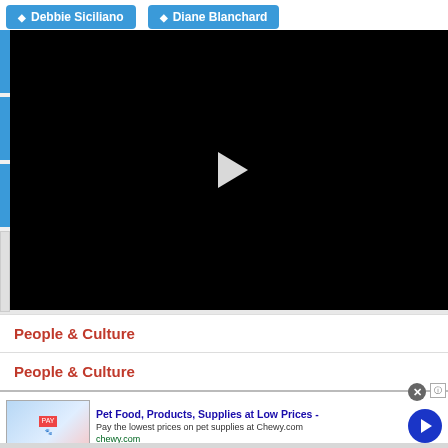[Figure (screenshot): Tag buttons for Debbie Siciliano and Diane Blanchard in blue pill/badge style]
[Figure (screenshot): Embedded video player showing a black screen with a white play button triangle in the center]
People & Culture
People & Culture
[Figure (screenshot): Advertisement for Chewy.com - Pet Food, Products, Supplies at Low Prices. Pay the lowest prices on pet supplies at Chewy.com. Shows product images and a blue arrow button. Close X button and info button visible.]